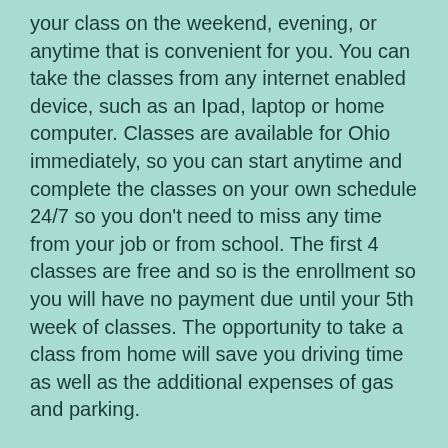your class on the weekend, evening, or anytime that is convenient for you. You can take the classes from any internet enabled device, such as an Ipad, laptop or home computer. Classes are available for Ohio immediately, so you can start anytime and complete the classes on your own schedule 24/7 so you don't need to miss any time from your job or from school. The first 4 classes are free and so is the enrollment so you will have no payment due until your 5th week of classes. The opportunity to take a class from home will save you driving time as well as the additional expenses of gas and parking.
What is the cost of Domestic Violence Classes in Ohio ?
Our domestic violence classes have no enrollment fees and the first 4 classes are free. There will be no fees due until week 5 of classes. Each class starting with class 5 is only $1.99. You will need to complete 1 class per week.